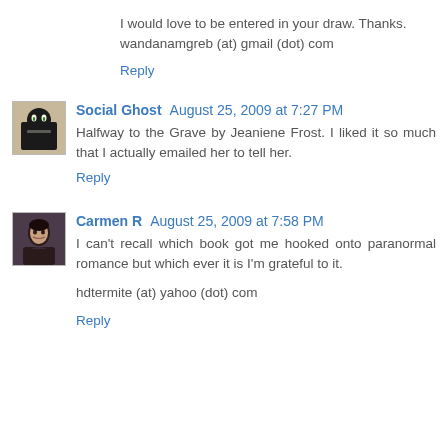I would love to be entered in your draw. Thanks.
wandanamgreb (at) gmail (dot) com
Reply
Social Ghost August 25, 2009 at 7:27 PM
Halfway to the Grave by Jeaniene Frost. I liked it so much that I actually emailed her to tell her.
Reply
Carmen R August 25, 2009 at 7:58 PM
I can't recall which book got me hooked onto paranormal romance but which ever it is I'm grateful to it.

hdtermite (at) yahoo (dot) com
Reply